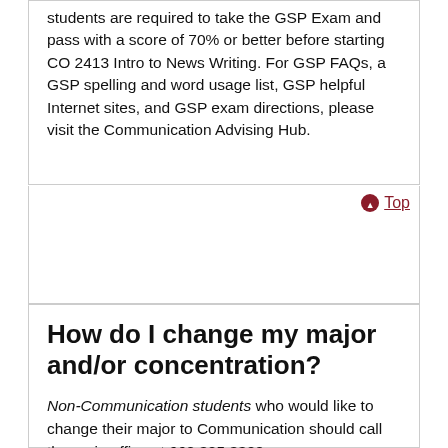students are required to take the GSP Exam and pass with a score of 70% or better before starting CO 2413 Intro to News Writing. For GSP FAQs, a GSP spelling and word usage list, GSP helpful Internet sites, and GSP exam directions, please visit the Communication Advising Hub.
Top
How do I change my major and/or concentration?
Non-Communication students who would like to change their major to Communication should call the main office at 662.325.3320 or